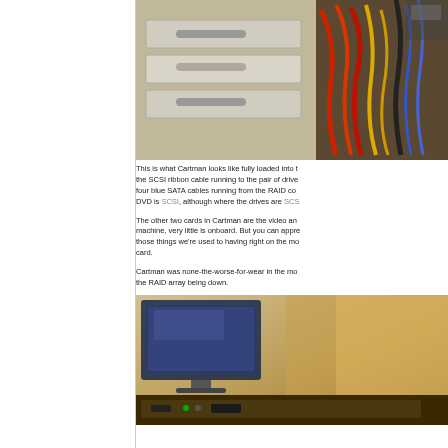[Figure (photo): Interior of a server/computer chassis showing SCSI ribbon cables, red/yellow/black power cables, SATA cables, and drive bays with hardware components.]
This is what Cartman looks like fully loaded into the rack. You can see the SCSI ribbon cable running to the pair of drives on the left, and the four blue SATA cables running from the RAID controller. The CD/DVD is SCSI, although where the drives are SCSI...
The other two cards in Cartman are the video and... machine, very little is onboard. But you can appreciate those things we're used to having right on the motherboard on a card.
Cartman was none-the-worse-for-wear in the move, besides the RAID array being down.
[Figure (photo): Computer monitor and equipment visible in a dimly lit room, showing a rackmount server setup.]